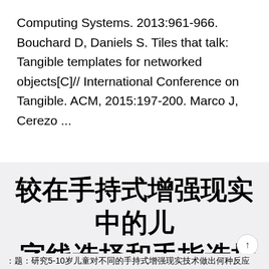Computing Systems. 2013:961-966. Bouchard D, Daniels S. Tiles that talk: Tangible templates for networked objects[C]// International Conference on Tangible. ACM, 2015:197-200. Marco J, Cerezo ...
较在手持式增强现实中的儿-字线选择和手指选择交互：可用性和儿童发展的关系
：题：研究5-10岁儿童对不同的手持式增强现实技术做出何种反应